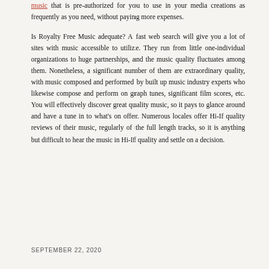music that is pre-authorized for you to use in your media creations as frequently as you need, without paying more expenses.
Is Royalty Free Music adequate? A fast web search will give you a lot of sites with music accessible to utilize. They run from little one-individual organizations to huge partnerships, and the music quality fluctuates among them. Nonetheless, a significant number of them are extraordinary quality, with music composed and performed by built up music industry experts who likewise compose and perform on graph tunes, significant film scores, etc. You will effectively discover great quality music, so it pays to glance around and have a tune in to what's on offer. Numerous locales offer Hi-If quality reviews of their music, regularly of the full length tracks, so it is anything but difficult to hear the music in Hi-If quality and settle on a decision.
SEPTEMBER 22, 2020